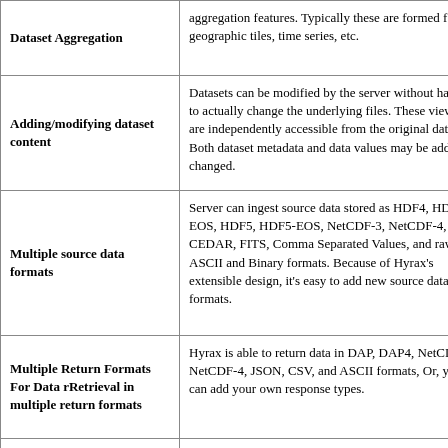| Feature | Description |
| --- | --- |
| Dataset Aggregation | aggregation features. Typically these are formed for geographic tiles, time series, etc. |
| Adding/modifying dataset content | Datasets can be modified by the server without having to actually change the underlying files. These views are independently accessible from the original data. Both dataset metadata and data values may be added or changed. |
| Multiple source data formats | Server can ingest source data stored as HDF4, HDF4-EOS, HDF5, HDF5-EOS, NetCDF-3, NetCDF-4, CEDAR, FITS, Comma Separated Values, and raw ASCII and Binary formats. Because of Hyrax's extensible design, it's easy to add new source data formats. |
| Multiple Return Formats For Data rRetrieval in multiple return formats | Hyrax is able to return data in DAP, DAP4, NetCDF-3, NetCDF-4, JSON, CSV, and ASCII formats, Or, you can add your own response types. |
| Gateway Service | Hyrax supports a gateway service feature that allows it to provide DAP (and other Hyrax) services for remotely held datasets that are stored in any of Hyrax's source data formats. |
|  | Hyrax provides RDF descriptions of it's data |